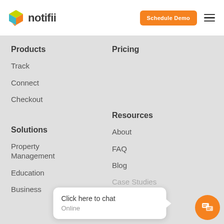notifii — Schedule Demo navigation header
Products
Track
Connect
Checkout
Pricing
Solutions
Property Management
Education
Business
Resources
About
FAQ
Blog
Case Studies
Click here to chat
Online